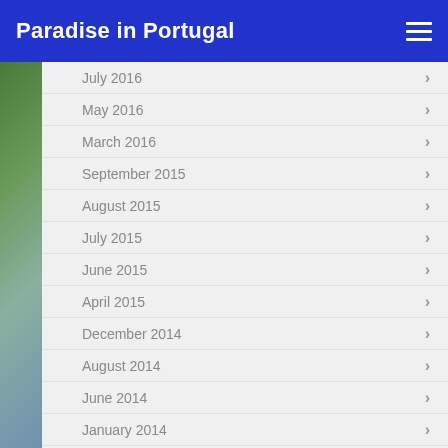Paradise in Portugal
July 2016
May 2016
March 2016
September 2015
August 2015
July 2015
June 2015
April 2015
December 2014
August 2014
June 2014
January 2014